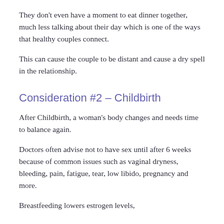They don't even have a moment to eat dinner together, much less talking about their day which is one of the ways that healthy couples connect.
This can cause the couple to be distant and cause a dry spell in the relationship.
Consideration #2 – Childbirth
After Childbirth, a woman's body changes and needs time to balance again.
Doctors often advise not to have sex until after 6 weeks because of common issues such as vaginal dryness, bleeding, pain, fatigue, tear, low libido, pregnancy and more.
Breastfeeding lowers estrogen levels,